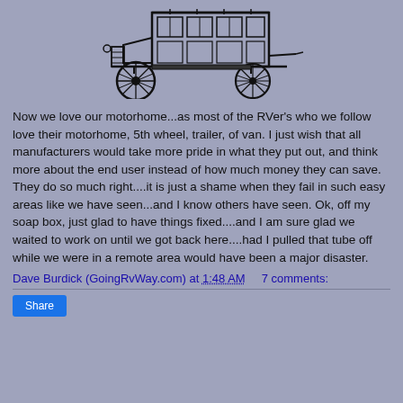[Figure (illustration): Black and white line drawing of an old-fashioned early 20th century motor vehicle (resembling a Model T Ford) with a boxy enclosed passenger compartment and large spoked wheels.]
Now we love our motorhome...as most of the RVer's who we follow love their motorhome, 5th wheel, trailer, of van.  I just wish that all manufacturers would take more pride in what they put out, and think more about the end user instead of how much money they can save.  They do so much right....it is just a shame when they fail in such easy areas like we have seen...and I know others have seen.   Ok, off my soap box, just glad to have things fixed....and I am sure glad we waited to work on until we got back here....had I pulled that tube off while we were in a remote area would have been a major disaster.
Dave Burdick (GoingRvWay.com) at 1:48 AM    7 comments:
Share